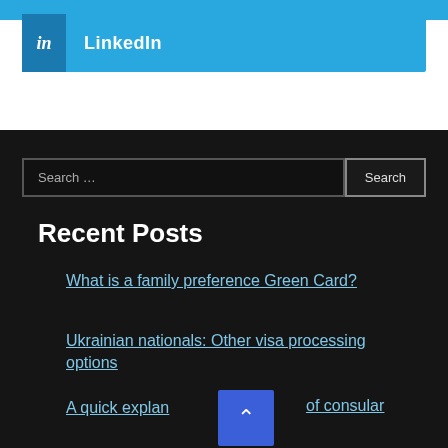[Figure (other): LinkedIn social media button/link bar in blue with 'in' icon and 'LinkedIn' text]
[Figure (screenshot): Dark-background sidebar with search bar and Recent Posts section listing links: 'What is a family preference Green Card?', 'Ukrainian nationals: Other visa processing options', 'A quick explan... of consular processing']
Recent Posts
What is a family preference Green Card?
Ukrainian nationals: Other visa processing options
A quick explanation of consular processing